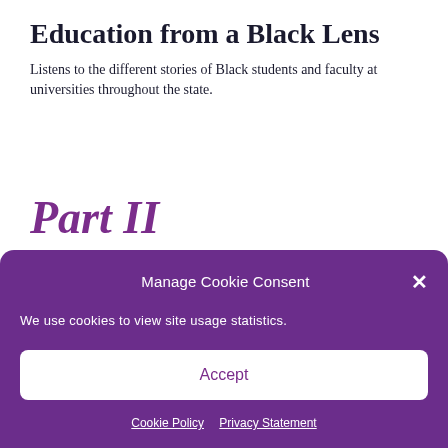Education from a Black Lens
Listens to the different stories of Black students and faculty at universities throughout the state.
Part II
The Strength of Black Veterans in New Mexico
Manage Cookie Consent
We use cookies to view site usage statistics.
Accept
Cookie Policy  Privacy Statement